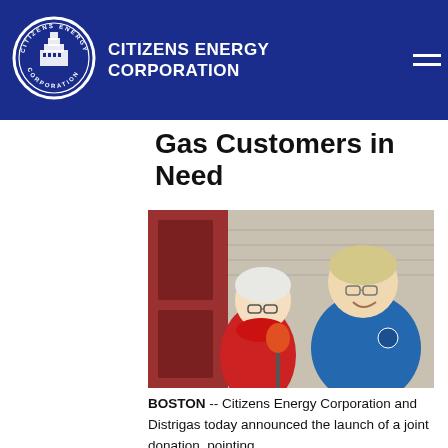CITIZENS ENERGY CORPORATION
Gas Customers in Need
[Figure (photo): An elderly woman in a red coat speaking at a microphone outdoors, with a man in a blue jacket standing beside her smiling.]
BOSTON -- Citizens Energy Corporation and Distrigas today announced the launch of a joint donation, pointing...